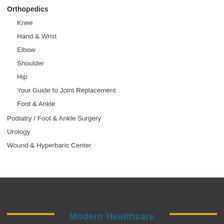Orthopedics
Knee
Hand & Wrist
Elbow
Shoulder
Hip
Your Guide to Joint Replacement
Foot & Ankle
Podiatry / Foot & Ankle Surgery
Urology
Wound & Hyperbaric Center
Modern Healthcare